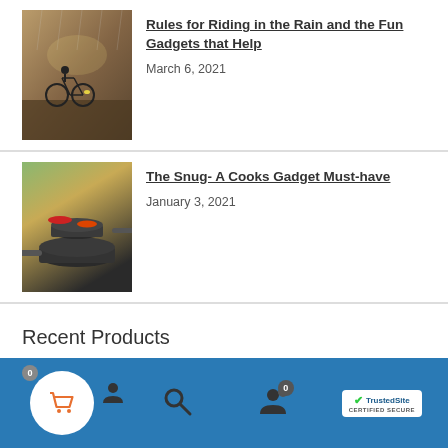[Figure (photo): Two cyclists riding in the rain at night with lights visible]
Rules for Riding in the Rain and the Fun Gadgets that Help
March 6, 2021
[Figure (photo): Cooking pans with colorful lids on a kitchen surface]
The Snug- A Cooks Gadget Must-have
January 3, 2021
Recent Products
SAMSUNG Galaxy Watch 4 Classic 42mm Smartwatch with ECG Monitor Tracker for Health Fitness Running Sleep Cycles
[Figure (other): Blue navigation bar with cart icon (badge 0), user icon, search icon, and another icon with badge 0; TrustedSite Certified Secure badge on right]